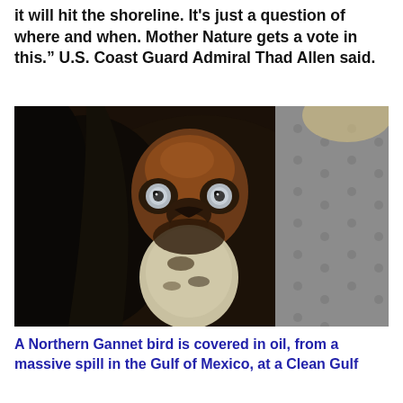There's enough oil out there that it is logical to think it will hit the shoreline. It's just a question of where and when. Mother Nature gets a vote in this." U.S. Coast Guard Admiral Thad Allen said.
[Figure (photo): Close-up photograph of a Northern Gannet bird covered in oil, looking directly at the camera. The bird has a brown-orange head and pale blue-grey eyes. The feathers appear dark and matted with oil. Background shows a patterned grey surface.]
A Northern Gannet bird is covered in oil, from a massive spill in the Gulf of Mexico, at a Clean Gulf